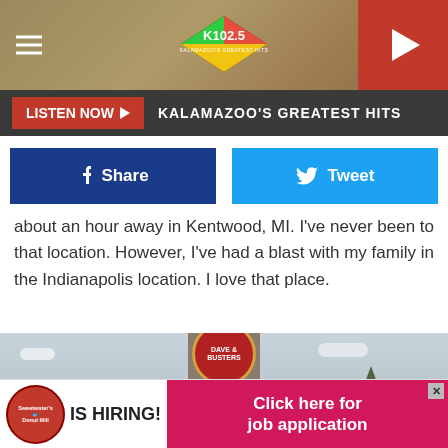[Figure (screenshot): K102.5 radio station website header with logo, hamburger menu, and play button]
KALAMAZOO'S GREATEST HITS
[Figure (other): Facebook Share and Twitter Tweet social sharing buttons]
about an hour away in Kentwood, MI.  I've never been to that location.  However, I've had a blast with my family in the Indianapolis location.  I love that place.
[Figure (photo): Exterior photo showing Dave & Buster's sign against a cloudy sky with trees visible]
[Figure (other): Sweetwater's Donut Mill IS HIRING advertisement banner with Click here for job application button]